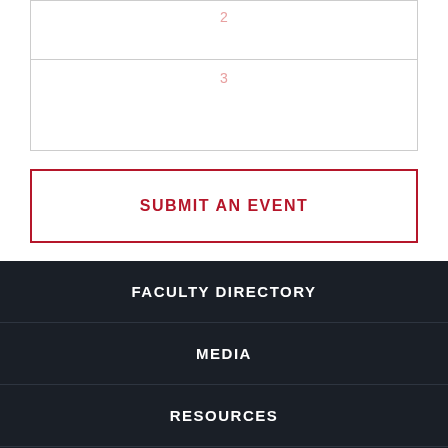| 2 |
| 3 |
SUBMIT AN EVENT
FACULTY DIRECTORY
MEDIA
RESOURCES
CLARKNET